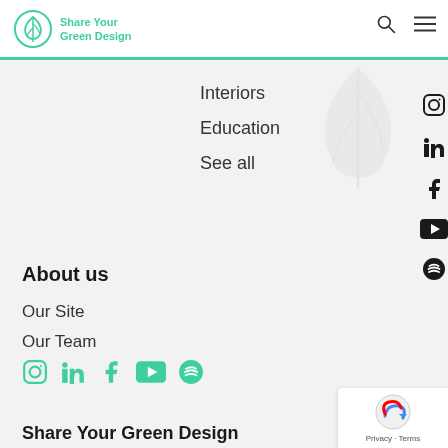Share Your Green Design — navigation header with logo, search icon, and menu icon
Interiors
Education
See all
About us
Our Site
Our Team
[Figure (other): Social media icons row: Instagram, LinkedIn, Facebook, YouTube, Spotify in green]
Share Your Green Design
A website dedicated to collecting and sharing the